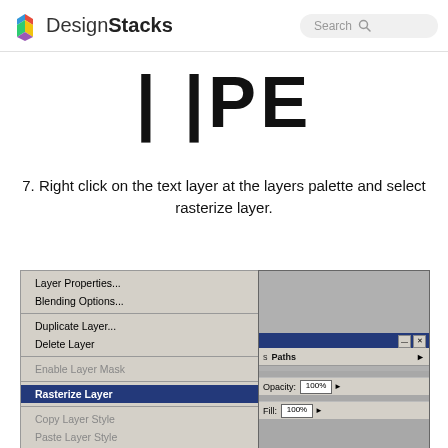DesignStacks
[Figure (screenshot): Large bold text displaying 'TYPE' partially visible at the top of the content area]
7. Right click on the text layer at the layers palette and select rasterize layer.
[Figure (screenshot): Photoshop context menu showing Layer Properties, Blending Options, Duplicate Layer, Delete Layer, Enable Layer Mask (greyed), Rasterize Layer (selected/highlighted in blue), Copy Layer Style, Paste Layer Style, Paste Layer Style to Linked, and partially visible options. Layers panel visible on right with Paths tab, Opacity 100%, Fill 100%.]